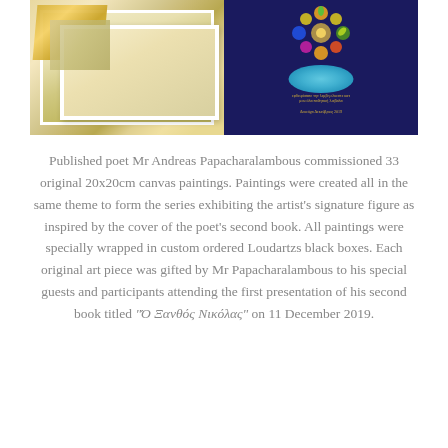[Figure (photo): Two-panel photo: left side shows canvas paintings with golden foil details stacked at an angle with white frames; right side shows a dark navy book cover with colorful flower mandala illustration in yellow/orange/green and a blue oval water shape, with Greek text below in gold.]
Published poet Mr Andreas Papacharalambous commissioned 33 original 20x20cm canvas paintings. Paintings were created all in the same theme to form the series exhibiting the artist's signature figure as inspired by the cover of the poet's second book. All paintings were specially wrapped in custom ordered Loudartzs black boxes. Each original art piece was gifted by Mr Papacharalambous to his special guests and participants attending the first presentation of his second book titled “Ὄ Ξανθός Νικόλας” on 11 December 2019.